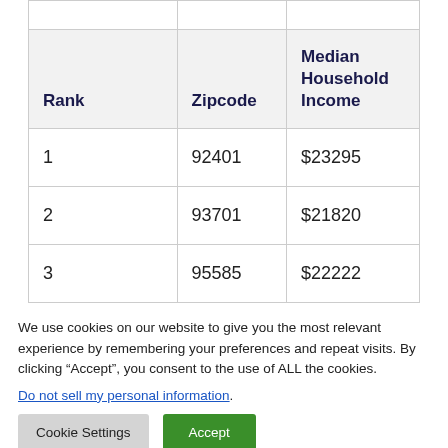| Rank | Zipcode | Median Household Income |
| --- | --- | --- |
| 1 | 92401 | $23295 |
| 2 | 93701 | $21820 |
| 3 | 95585 | $22222 |
We use cookies on our website to give you the most relevant experience by remembering your preferences and repeat visits. By clicking “Accept”, you consent to the use of ALL the cookies.
Do not sell my personal information.